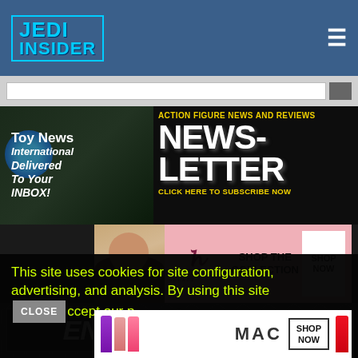[Figure (screenshot): Jedi Insider website header with blue background, Jedi Insider logo in cyan, hamburger menu icon]
[Figure (screenshot): Toy News International / Action Figure News Newsletter subscription banner with yellow text on dark background]
[Figure (screenshot): Victoria's Secret advertisement - Shop the Collection - Shop Now]
[Figure (screenshot): ENI and Jedi Insider partner logo strip]
[Figure (screenshot): Marvelous News and TFormers All Things Transformers partner site logos]
This site uses cookies for site configuration, advertising, and analysis. By using this site you accept our p
[Figure (screenshot): MAC cosmetics advertisement with lipsticks - Shop Now button]
[Figure (screenshot): CLOSE button for cookie notice]